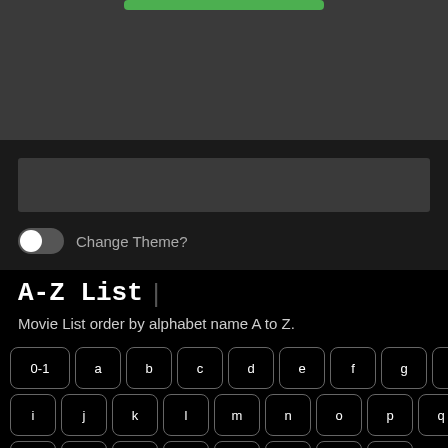[Figure (screenshot): Top gray section with green bar at top and a gray input/content box below]
Change Theme?
A-Z List | Movie List order by alphabet name A to Z.
[Figure (screenshot): On-screen keyboard with keys: 0-1, a, b, c, d, e, f, g, h / i, j, k, l, m, n, o, p, q, r / s, t, u, v, w, x, y, z]